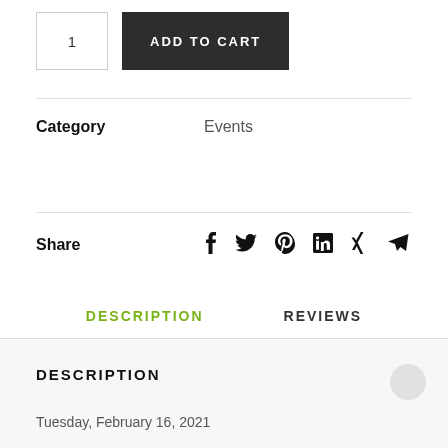1  ADD TO CART
Category   Events
Share  [social icons: Facebook, Twitter, Pinterest, LinkedIn, Xing, Telegram]
DESCRIPTION
REVIEWS
DESCRIPTION
Tuesday, February 16, 2021